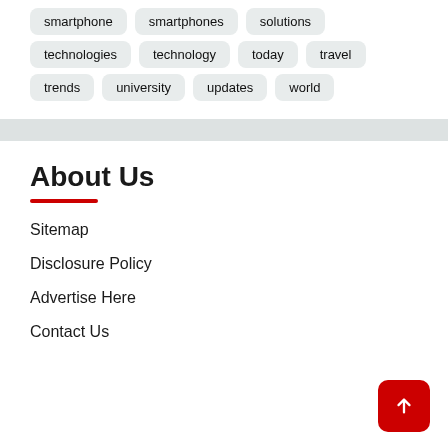smartphone
smartphones
solutions
technologies
technology
today
travel
trends
university
updates
world
About Us
Sitemap
Disclosure Policy
Advertise Here
Contact Us